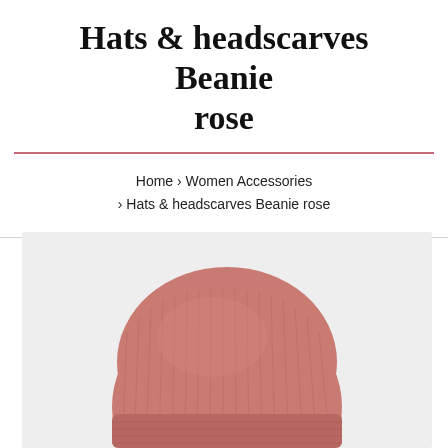Hats & headscarves Beanie rose
Home › Women Accessories › Hats & headscarves Beanie rose
[Figure (photo): A ribbed knit beanie hat in dusty rose/pink color, shown on a light grey background. The hat is photographed from above showing the ribbed texture and rounded shape.]